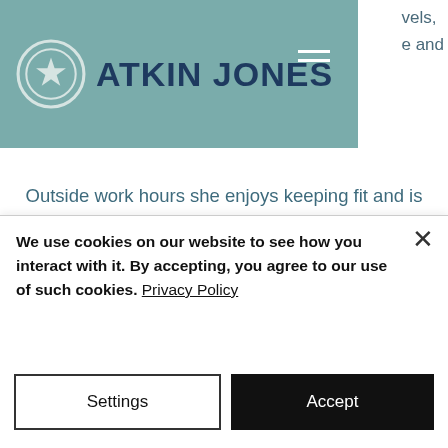ATKIN JONES
Outside work hours she enjoys keeping fit and is an 'enthusiastic but not always competent' (her words) runner with several marathons and half marathons in her collection. Adventures are her passion, having successfully summited Kilimanjaro and Everest Base Camp as well as well as several European and UK challenges,
We use cookies on our website to see how you interact with it. By accepting, you agree to our use of such cookies. Privacy Policy